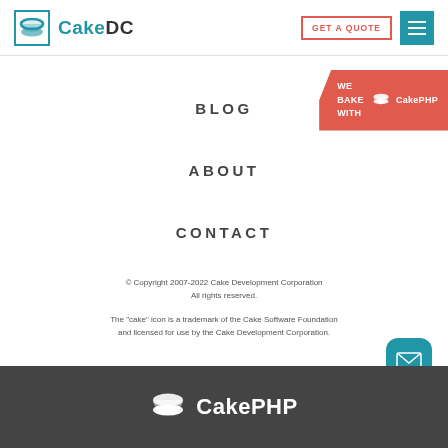CakeDC | GET A QUOTE | Menu
BLOG
ABOUT
CONTACT
[Figure (logo): WE BAKE WITH CakePHP badge in red]
© Copyright 2007-2022 Cake Development Corporation. All rights reserved. The "cake" icon is a trademark of the Cake Software Foundation and licensed for use by the Cake Development Corporation
[Figure (logo): CakePHP logo in white on dark bar at bottom]